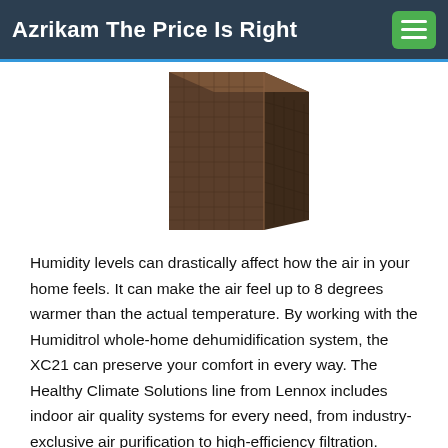Azrikam The Price Is Right
[Figure (photo): A brown wicker-textured rectangular air conditioning or storage unit, viewed from a slight angle showing two sides. Dark brown color with a grid/wicker pattern on the exterior panels.]
Humidity levels can drastically affect how the air in your home feels. It can make the air feel up to 8 degrees warmer than the actual temperature. By working with the Humiditrol whole-home dehumidification system, the XC21 can preserve your comfort in every way. The Healthy Climate Solutions line from Lennox includes indoor air quality systems for every need, from industry-exclusive air purification to high-efficiency filtration.